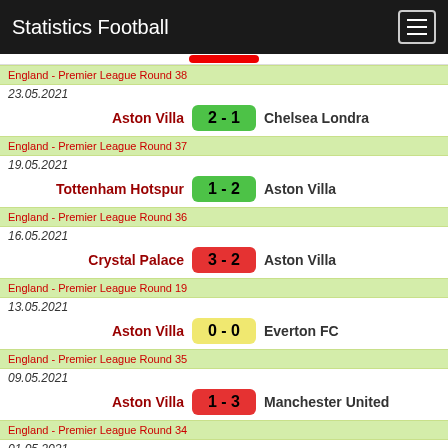Statistics Football
England - Premier League Round 38
23.05.2021
Aston Villa 2 - 1 Chelsea Londra
England - Premier League Round 37
19.05.2021
Tottenham Hotspur 1 - 2 Aston Villa
England - Premier League Round 36
16.05.2021
Crystal Palace 3 - 2 Aston Villa
England - Premier League Round 19
13.05.2021
Aston Villa 0 - 0 Everton FC
England - Premier League Round 35
09.05.2021
Aston Villa 1 - 3 Manchester United
England - Premier League Round 34
01.05.2021